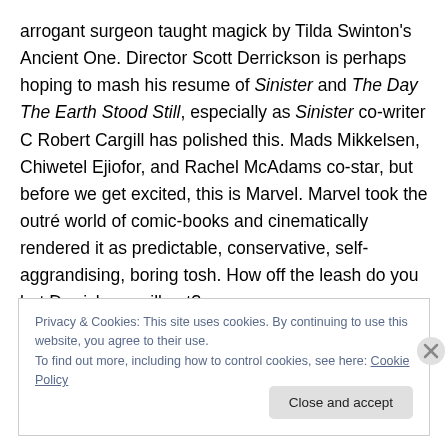arrogant surgeon taught magick by Tilda Swinton's Ancient One. Director Scott Derrickson is perhaps hoping to mash his resume of Sinister and The Day The Earth Stood Still, especially as Sinister co-writer C Robert Cargill has polished this. Mads Mikkelsen, Chiwetel Ejiofor, and Rachel McAdams co-star, but before we get excited, this is Marvel. Marvel took the outré world of comic-books and cinematically rendered it as predictable, conservative, self-aggrandising, boring tosh. How off the leash do you bet Derrickson will get?
Privacy & Cookies: This site uses cookies. By continuing to use this website, you agree to their use.
To find out more, including how to control cookies, see here: Cookie Policy